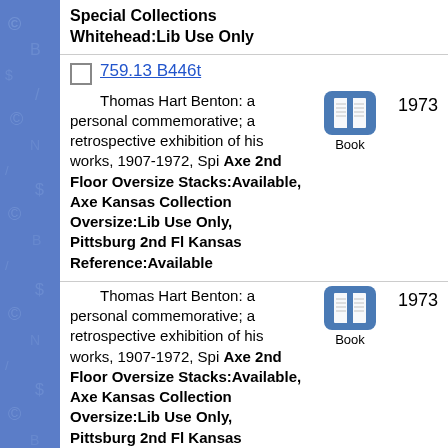Special Collections Whitehead:Lib Use Only
759.13 B446t
Thomas Hart Benton: a personal commemorative; a retrospective exhibition of his works, 1907-1972, Spi Axe 2nd Floor Oversize Stacks:Available, Axe Kansas Collection Oversize:Lib Use Only, Pittsburg 2nd Fl Kansas Reference:Available 1973
Thomas Hart Benton: a personal commemorative; a retrospective exhibition of his works, 1907-1972, Spi Axe 2nd Floor Oversize Stacks:Available, Axe Kansas Collection Oversize:Lib Use Only, Pittsburg 2nd Fl Kansas Reference:Available 1973
759.13 B471b, 1953 : Biberman,